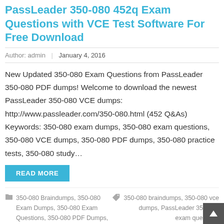PassLeader 350-080 452q Exam Questions with VCE Test Software For Free Download
Author: admin | January 4, 2016
New Updated 350-080 Exam Questions from PassLeader 350-080 PDF dumps! Welcome to download the newest PassLeader 350-080 VCE dumps: http://www.passleader.com/350-080.html (452 Q&As) Keywords: 350-080 exam dumps, 350-080 exam questions, 350-080 VCE dumps, 350-080 PDF dumps, 350-080 practice tests, 350-080 study…
READ MORE
350-080 Braindumps, 350-080 Exam Dumps, 350-080 Exam Questions, 350-080 PDF Dumps, 350-080 Practice Test, 350-080 Study Guide, 350-080 VCE Dumps, Cisco Braindumps
350-080 braindumps, 350-080 vce dumps, PassLeader 350-080 exam questions